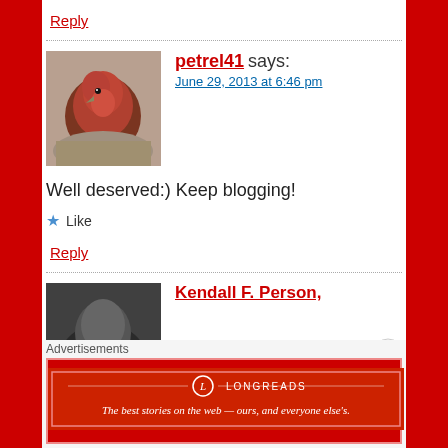Reply
petrel41 says:
June 29, 2013 at 6:46 pm
Well deserved:) Keep blogging!
Like
Reply
Kendall F. Person,
Advertisements
The best stories on the web — ours, and everyone else's.